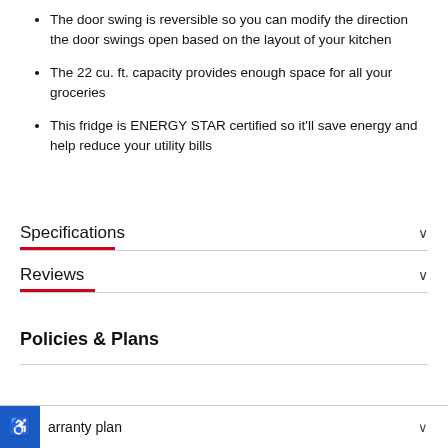The door swing is reversible so you can modify the direction the door swings open based on the layout of your kitchen
The 22 cu. ft. capacity provides enough space for all your groceries
This fridge is ENERGY STAR certified so it'll save energy and help reduce your utility bills
Specifications
Reviews
Policies & Plans
arranty plan